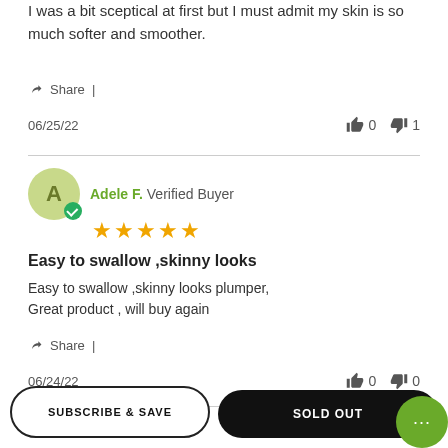I was a bit sceptical at first but I must admit my skin is so much softer and smoother.
Share |
06/25/22   👍 0   👎 1
Adele F. Verified Buyer ★★★★★
Easy to swallow ,skinny looks
Easy to swallow ,skinny looks plumper, Great product , will buy again
Share |
06/24/22   👍 0   👎 0
SUBSCRIBE & SAVE   SOLD OUT